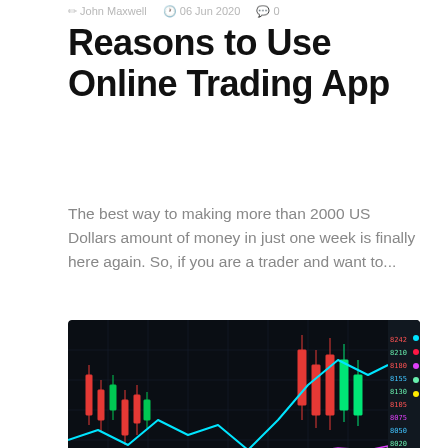John Maxwell  06 Jun 2020  0
Reasons to Use Online Trading App
The best way to making more than 2000 US Dollars amount of money in just one week is finally here again. So, if you are a trader and want to...
[Figure (photo): Dark background stock trading chart showing candlestick patterns with colored lines (cyan, white, green, purple) overlaid on the chart, with price data on the right side in neon colors]